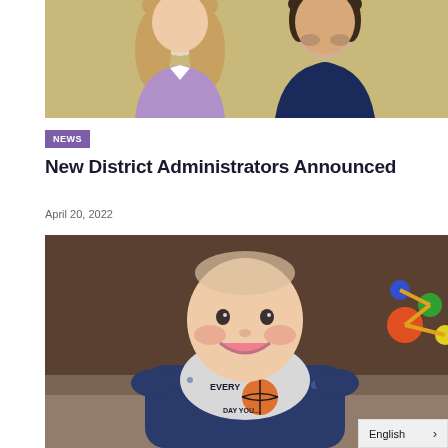[Figure (photo): Two adults posing for a professional photo — a woman in a lavender blazer on the left and a man in a dark navy polo shirt on the right, against a golden/tan background]
NEWS
New District Administrators Announced
April 20, 2022
[Figure (photo): A smiling baby lying on a playmat wearing a blue patterned outfit and a bib that reads 'EVERY DAY YOU...' with a basketball graphic; colorful toys visible in the background]
English >